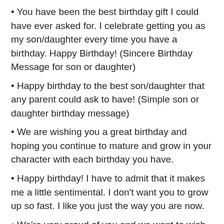You have been the best birthday gift I could have ever asked for. I celebrate getting you as my son/daughter every time you have a birthday. Happy Birthday! (Sincere Birthday Message for son or daughter)
Happy birthday to the best son/daughter that any parent could ask to have! (Simple son or daughter birthday message)
We are wishing you a great birthday and hoping you continue to mature and grow in your character with each birthday you have.
Happy birthday! I have to admit that it makes me a little sentimental. I don't want you to grow up so fast. I like you just the way you are now.
We're very proud of you and we want to wish you an